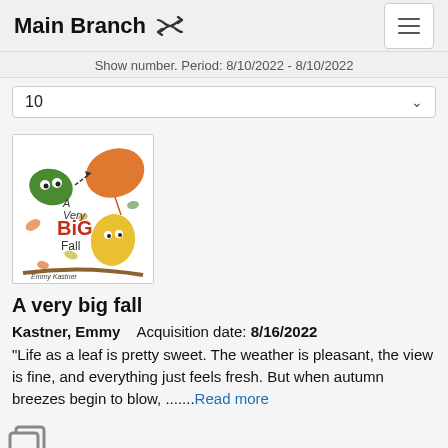Main Branch
Show number. Period: 8/10/2022 - 8/10/2022
10
[Figure (illustration): Book cover of 'A Very Big Fall' by Emmy Kastner, showing cartoon leaf characters with googly eyes surrounded by autumn leaves in an illustrated style.]
A very big fall
Kastner, Emmy    Acquisition date: 8/16/2022
"Life as a leaf is pretty sweet. The weather is pleasant, the view is fine, and everything just feels fresh. But when autumn breezes begin to blow, .......Read more